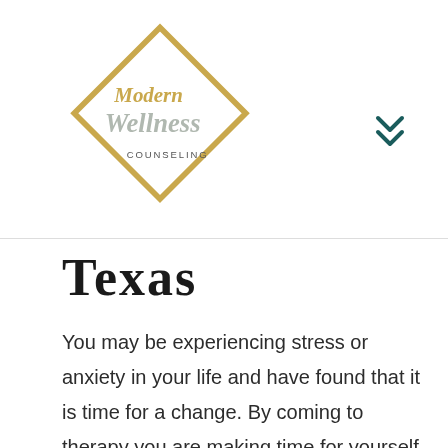[Figure (logo): Modern Wellness Counseling logo — gold diamond outline with script text 'Modern Wellness' inside and 'COUNSELING' in small caps below]
Texas
You may be experiencing stress or anxiety in your life and have found that it is time for a change. By coming to therapy you are making time for yourself to feel empowered and strong. You will learn how to improve your boundaries, build your self-esteem, and regain balance in